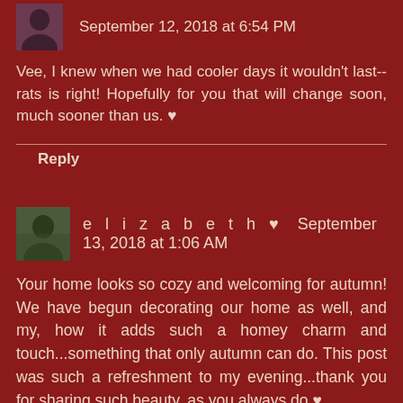September 12, 2018 at 6:54 PM
Vee, I knew when we had cooler days it wouldn't last--rats is right! Hopefully for you that will change soon, much sooner than us. ♥
Reply
e l i z a b e t h ♥   September 13, 2018 at 1:06 AM
Your home looks so cozy and welcoming for autumn! We have begun decorating our home as well, and my, how it adds such a homey charm and touch...something that only autumn can do. This post was such a refreshment to my evening...thank you for sharing such beauty, as you always do ♥
Grace and peace to you!
Reply
Replies